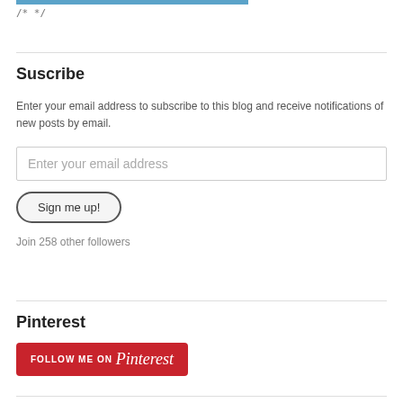/* */
Suscribe
Enter your email address to subscribe to this blog and receive notifications of new posts by email.
Enter your email address
Sign me up!
Join 258 other followers
Pinterest
[Figure (other): Follow me on Pinterest button - red rounded rectangle with white text 'FOLLOW ME ON Pinterest']